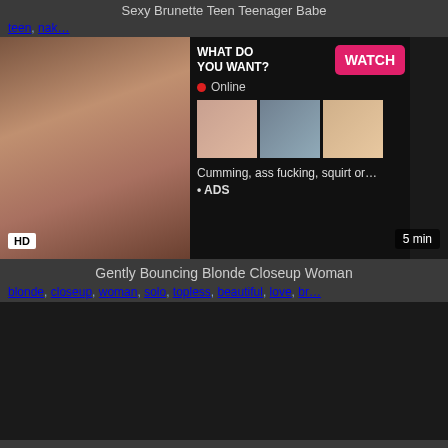Sexy Brunette Teen Teenager Babe
teen, nak...
[Figure (screenshot): Video thumbnail with ad overlay showing WHAT DO YOU WANT? WATCH button, Online status, three small thumbnails, and text: Cumming, ass fucking, squirt or... ADS]
Gently Bouncing Blonde Closeup Woman
blonde, closeup, woman, solo, topless, beautiful, love, br...
[Figure (screenshot): Dark video thumbnail for second video]